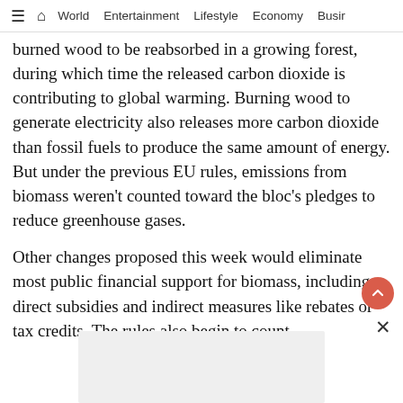≡ ⌂ World  Entertainment  Lifestyle  Economy  Busir
burned wood to be reabsorbed in a growing forest, during which time the released carbon dioxide is contributing to global warming. Burning wood to generate electricity also releases more carbon dioxide than fossil fuels to produce the same amount of energy. But under the previous EU rules, emissions from biomass weren't counted toward the bloc's pledges to reduce greenhouse gases.
Other changes proposed this week would eliminate most public financial support for biomass, including direct subsidies and indirect measures like rebates or tax credits. The rules also begin to count
[Figure (other): Gray advertisement placeholder box at the bottom of the page]